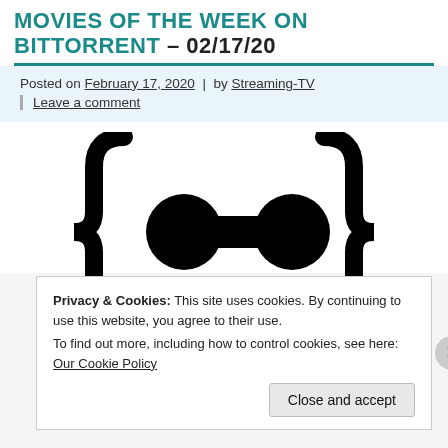MOVIES OF THE WEEK ON BITTORRENT – 02/17/20
Posted on February 17, 2020  |  by Streaming-TV
Leave a comment
[Figure (illustration): BitTorrent logo illustration — curly brace symbol with circles and rectangle, black on white]
Privacy & Cookies: This site uses cookies. By continuing to use this website, you agree to their use. To find out more, including how to control cookies, see here: Our Cookie Policy